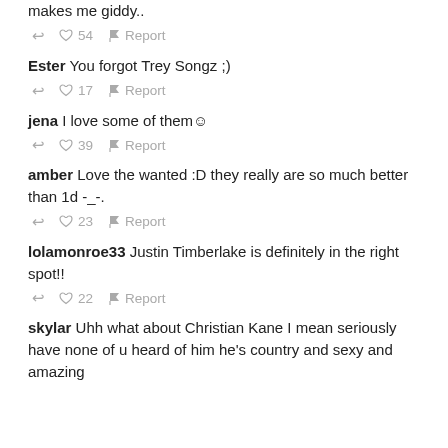makes me giddy..
↩ ♥ 54 ⚑ Report
Ester You forgot Trey Songz ;)
↩ ♥ 17 ⚑ Report
jena I love some of them☺
↩ ♥ 39 ⚑ Report
amber Love the wanted :D they really are so much better than 1d -_-.
↩ ♥ 23 ⚑ Report
lolamonroe33 Justin Timberlake is definitely in the right spot!!
↩ ♥ 22 ⚑ Report
skylar Uhh what about Christian Kane I mean seriously have none of u heard of him he's country and sexy and amazing